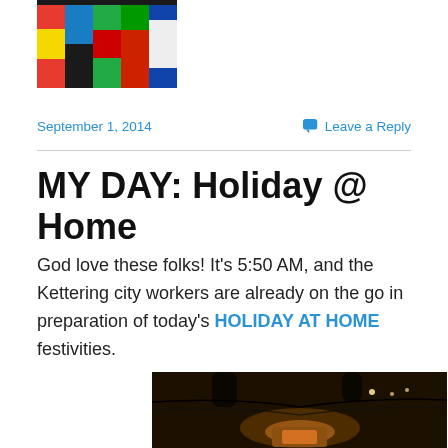[Figure (photo): Colorful flags of various countries, partially visible at top-left corner]
September 1, 2014    Leave a Reply
MY DAY: Holiday @ Home
God love these folks! It's 5:50 AM, and the Kettering city workers are already on the go in preparation of today's HOLIDAY AT HOME festivities.
[Figure (photo): Dark nighttime outdoor scene showing city workers on the street with lights and equipment]